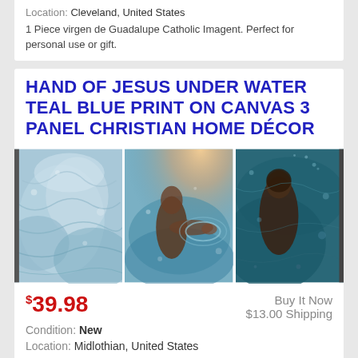Location: Cleveland, United States
1 Piece virgen de Guadalupe Catholic Imagent. Perfect for personal use or gift.
HAND OF JESUS UNDER WATER TEAL BLUE PRINT ON CANVAS 3 PANEL CHRISTIAN HOME DÉCOR
[Figure (photo): Three-panel canvas print showing Jesus reaching out his hand underwater in teal blue water]
$39.98
Buy It Now
$13.00 Shipping
Condition: New
Location: Midlothian, United States
High Definition Giclee modern canvas printing artwork, picture photo printed on high quality canvas. A great gift idea for your relatives and